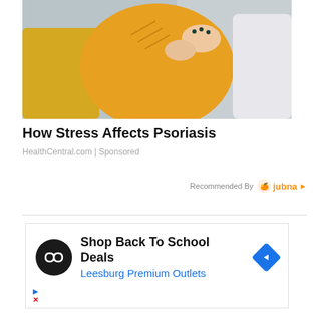[Figure (photo): Woman in yellow knit sweater stretching or examining her wrist/arm, sitting on a couch with yellow and grey cushions]
How Stress Affects Psoriasis
HealthCentral.com | Sponsored
Recommended By  jubna
[Figure (infographic): Advertisement: Shop Back To School Deals - Leesburg Premium Outlets with logo and navigation icon]